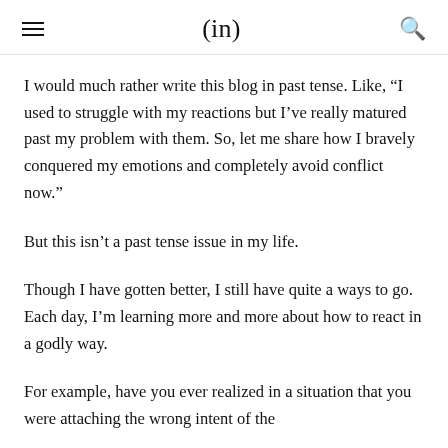(in)
I would much rather write this blog in past tense. Like, “I used to struggle with my reactions but I’ve really matured past my problem with them. So, let me share how I bravely conquered my emotions and completely avoid conflict now.”
But this isn’t a past tense issue in my life.
Though I have gotten better, I still have quite a ways to go. Each day, I’m learning more and more about how to react in a godly way.
For example, have you ever realized in a situation that you were attaching the wrong intent of the